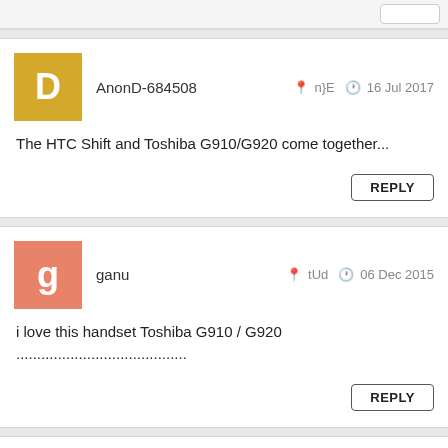AnonD-684508  n}E  16 Jul 2017
The HTC Shift and Toshiba G910/G920 come together...
ganu  tUd  06 Dec 2015
i love this handset Toshiba G910 / G920 .......................................
Pandu  PF9  31 Jul 2015